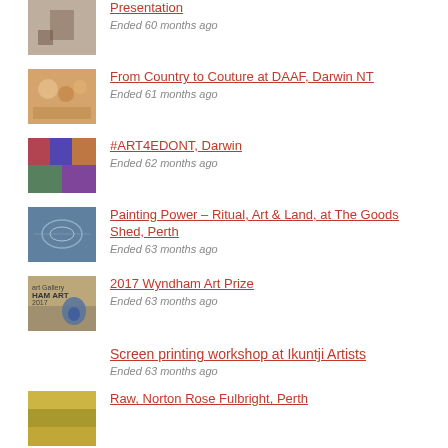Presentation
Ended 60 months ago
From Country to Couture at DAAF, Darwin NT
Ended 61 months ago
#ART4EDONT, Darwin
Ended 62 months ago
Painting Power – Ritual, Art & Land, at The Goods Shed, Perth
Ended 63 months ago
2017 Wyndham Art Prize
Ended 63 months ago
Screen printing workshop at Ikuntji Artists
Ended 63 months ago
Raw, Norton Rose Fulbright, Perth